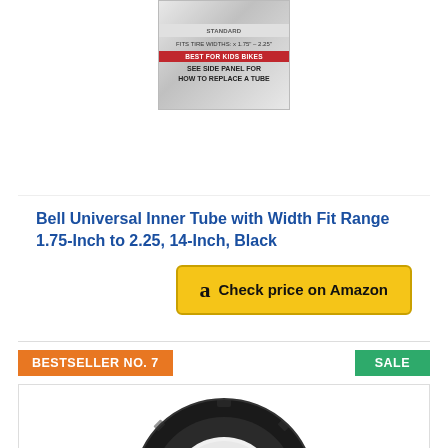[Figure (photo): Product image of Bell Universal Inner Tube packaging showing 'FITS TIRE WIDTHS: x 1.75" - 2.25"', 'BEST FOR KIDS BIKES' red banner, and 'SEE SIDE PANEL FOR HOW TO REPLACE A TUBE' text]
Bell Universal Inner Tube with Width Fit Range 1.75-Inch to 2.25, 14-Inch, Black
Check price on Amazon
BESTSELLER NO. 7
SALE
[Figure (photo): Black wheel/tire with white rim, appears to be a small tire suitable for a wheelbarrow or similar equipment]